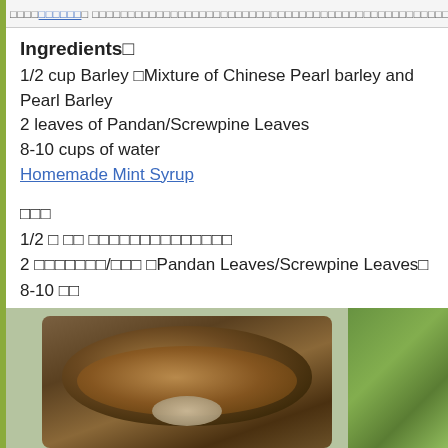□□□□□□□□□□ □□□□□□□□□□□□□□□□□□□□□□□□□□□□□□□□□□□□□□□□□□□□□□□□□□□□□□□□□□□□□□□□□□□□□□□□□
Ingredients□
1/2 cup Barley □Mixture of Chinese Pearl barley and Pearl Barley
2 leaves of Pandan/Screwpine Leaves
8-10 cups of water
Homemade Mint Syrup
□□□
1/2 □ □□ □□□□□□□□□□□□□□
2 □□□□□□□/□□□ □Pandan Leaves/Screwpine Leaves□
8-10 □□
□□□□ □□
[Figure (photo): A dark ceramic bowl containing barley drink with grains visible, garnished with green herbs on the right side]